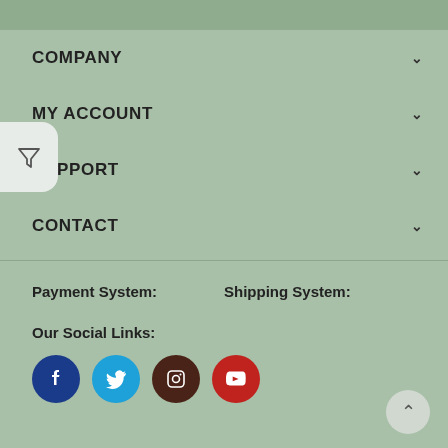COMPANY
MY ACCOUNT
SUPPORT
CONTACT
Payment System:
Shipping System:
Our Social Links:
[Figure (infographic): Social media icons: Facebook, Twitter, Instagram, YouTube]